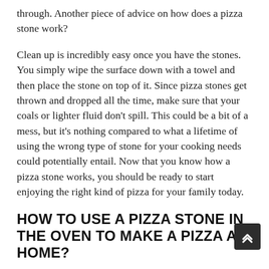through. Another piece of advice on how does a pizza stone work?
Clean up is incredibly easy once you have the stones. You simply wipe the surface down with a towel and then place the stone on top of it. Since pizza stones get thrown and dropped all the time, make sure that your coals or lighter fluid don't spill. This could be a bit of a mess, but it's nothing compared to what a lifetime of using the wrong type of stone for your cooking needs could potentially entail. Now that you know how a pizza stone works, you should be ready to start enjoying the right kind of pizza for your family today.
HOW TO USE A PIZZA STONE IN THE OVEN TO MAKE A PIZZA AT HOME?
How to use a pizza stone in the oven to make a